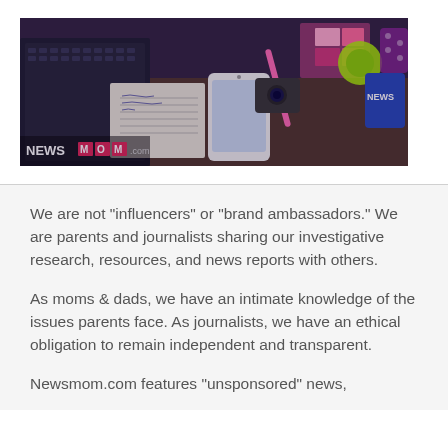[Figure (photo): Top-down photo of a desk with a laptop keyboard, smartphone, GoPro camera, notebook with handwriting, colorful stationery, a blue NEWS labeled mug/container, and various accessories. NEWS logo visible in bottom-left corner.]
We are not "influencers" or "brand ambassadors." We are parents and journalists sharing our investigative research, resources, and news reports with others.
As moms & dads, we have an intimate knowledge of the issues parents face. As journalists, we have an ethical obligation to remain independent and transparent.
Newsmom.com features "unsponsored" news,